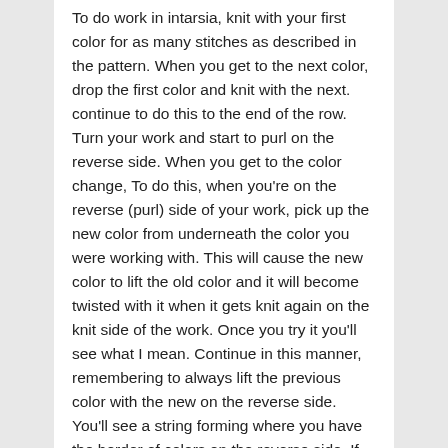To do work in intarsia, knit with your first color for as many stitches as described in the pattern. When you get to the next color, drop the first color and knit with the next. continue to do this to the end of the row. Turn your work and start to purl on the reverse side. When you get to the color change, To do this, when you're on the reverse (purl) side of your work, pick up the new color from underneath the color you were working with. This will cause the new color to lift the old color and it will become twisted with it when it gets knit again on the knit side of the work. Once you try it you'll see what I mean. Continue in this manner, remembering to always lift the previous color with the new on the reverse side. You'll see a string forming where you have the border of colors on the reverse side. If you notice a hole or gap where the colors change, you're not lifting the colors right. Try practicing making simple squares within squares until you get the knack of it. Once you're comfortable with this technique, there's no limit to how many colors you can have on a row (well, except for the number of stitches you have, of course). Remember though, the more colors you have the more bobbins you'll have and you'll need to devise a system for keeping them